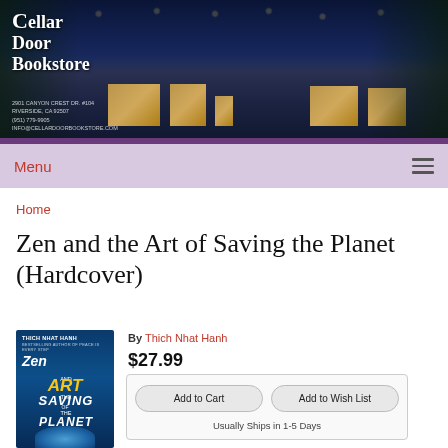[Figure (photo): Cellar Door Bookstore header banner showing the bookstore exterior at dusk with string lights and ivy, with the store logo overlaid in white serif text]
Menu
Home
Zen and the Art of Saving the Planet (Hardcover)
[Figure (photo): Book cover of 'Zen and the Art of Saving the Planet' by Thich Nhat Hanh, dark blue background with stylized text and globe imagery]
By Thich Nhat Hanh
$27.99
Add to Cart
Add to Wish List
Usually Ships in 1-5 Days